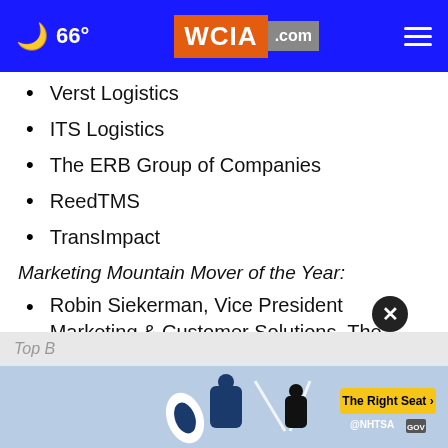66° WCIA.com
Verst Logistics
ITS Logistics
The ERB Group of Companies
ReedTMS
TransImpact
Marketing Mountain Mover of the Year:
Robin Siekerman, Vice President Marketing & Customer Solutions, The Shipper Group
Top B
[Figure (screenshot): NHTSA car seat safety advertisement banner with child seat icons and 'The Right Seat >' button]